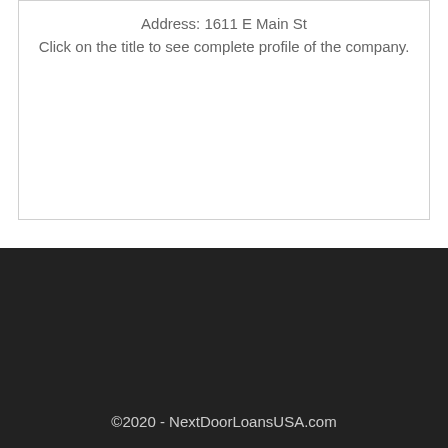Address: 1611 E Main St
Click on the title to see complete profile of the company.
©2020 - NextDoorLoansUSA.com